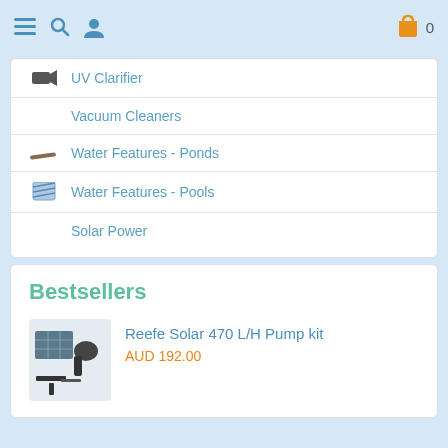Navigation bar with menu, search, user icons and cart (0)
UV Clarifier
Vacuum Cleaners
Water Features - Ponds
Water Features - Pools
Solar Power
Bestsellers
Reefe Solar 470 L/H Pump kit
AUD 192.00